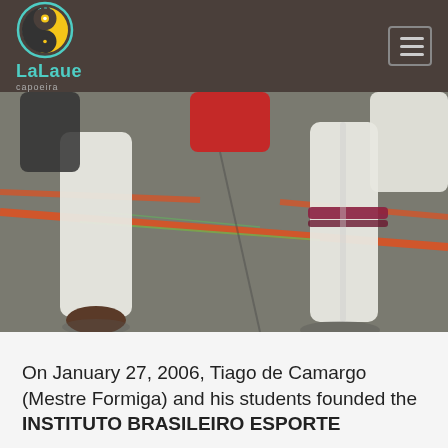LaLaue capoeira
[Figure (photo): Close-up photo of capoeira practitioners' legs in white pants on a gym floor with orange and green lines. One person is barefoot.]
On January 27, 2006, Tiago de Camargo (Mestre Formiga) and his students founded the INSTITUTO BRASILEIRO ESPORTE